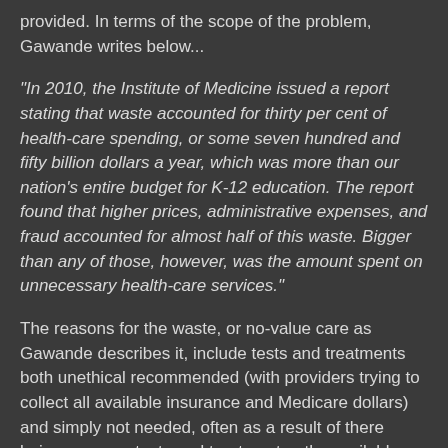provided. In terms of the scope of the problem, Gawande writes below...
"In 2010, the Institute of Medicine issued a report stating that waste accounted for thirty per cent of health-care spending, or some seven hundred and fifty billion dollars a year, which was more than our nation's entire budget for K-12 education. The report found that higher prices, administrative expenses, and fraud accounted for almost half of this waste. Bigger than any of those, however, was the amount spent on unnecessary health-care services."
The reasons for the waste, or no-value care as Gawande describes it, include tests and treatments both unethical recommended (with providers trying to collect all available insurance and Medicare dollars) and simply not needed, often as a result of there being so many tests and treatment paths available. What occurs is doctors, with patients buy-in, often test for problems that really aren't likely to have a terrible result if the problem found in someone, and then treat the problem because it's been discovered. The issue from this is the care costs money for someone, whether an